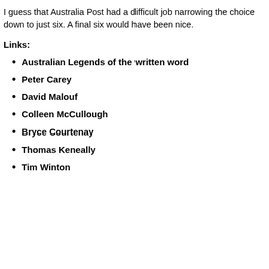I guess that Australia Post had a difficult job narrowing the choice down to just six. A final six would have been nice.
Links:
Australian Legends of the written word
Peter Carey
David Malouf
Colleen McCullough
Bryce Courtenay
Thomas Keneally
Tim Winton